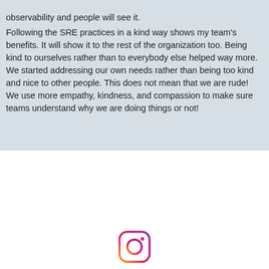observability and people will see it.
Following the SRE practices in a kind way shows my team's benefits. It will show it to the rest of the organization too. Being kind to ourselves rather than to everybody else helped way more. We started addressing our own needs rather than being too kind and nice to other people. This does not mean that we are rude! We use more empathy, kindness, and compassion to make sure teams understand why we are doing things or not!
[Figure (logo): Instagram logo icon, partially visible at bottom of page]